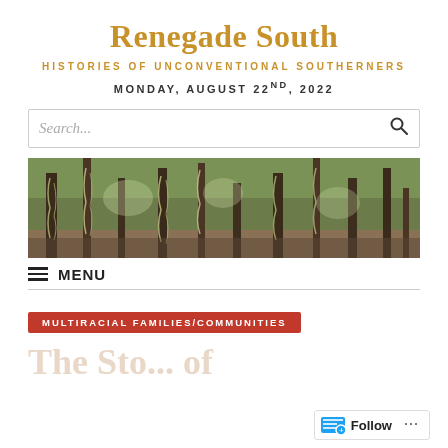Renegade South
HISTORIES OF UNCONVENTIONAL SOUTHERNERS
MONDAY, AUGUST 22ND, 2022
[Figure (screenshot): Search bar with placeholder text 'Search...' and a magnifying glass icon]
[Figure (photo): Panoramic photograph of a forested area with trees draped in Spanish moss, sunlight filtering through the canopy]
≡ MENU
MULTIRACIAL FAMILIES/COMMUNITIES
The Sto... of
Follow